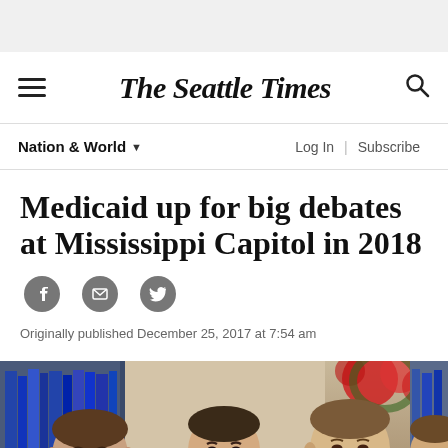The Seattle Times
Nation & World
Medicaid up for big debates at Mississippi Capitol in 2018
Originally published December 25, 2017 at 7:54 am
[Figure (photo): Photo of several men in suits seated at what appears to be a meeting or hearing, with a Christmas wreath visible in the background. Three men are prominently visible in the foreground.]